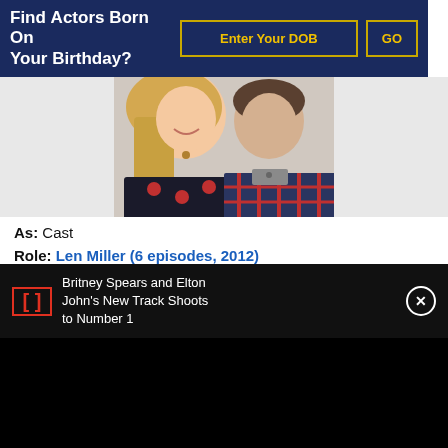Find Actors Born On Your Birthday?
Enter Your DOB | GO
[Figure (photo): Two people smiling, a woman with blonde hair in a dark polka-dot top and a man in a plaid shirt]
As: Cast
Role: Len Miller (6 episodes, 2012)
Genres: Comedy
Star Cast: Sally Phillips, Susie Blake, Darren Strange, Jadie Rose Hobson
Britney Spears and Elton John's New Track Shoots to Number 1